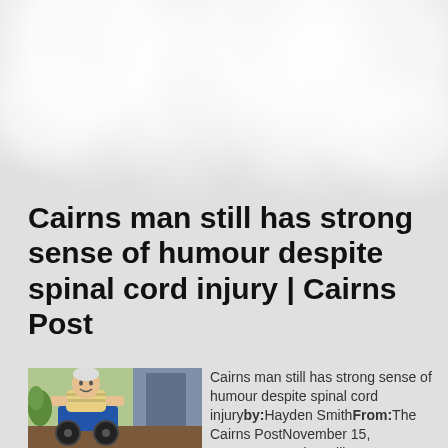Cairns man still has strong sense of humour despite spinal cord injury | Cairns Post
[Figure (photo): Photo of an older man in a wheelchair outdoors near a building entrance]
Cairns man still has strong sense of humour despite spinal cord injuryby:Hayden SmithFrom:The Cairns PostNovember 15, 20156:10AMEdge Hill man Don Tennant became a